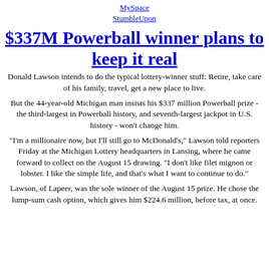MySpace
StumbleUpon
$337M Powerball winner plans to keep it real
Donald Lawson intends to do the typical lottery-winner stuff: Retire, take care of his family, travel, get a new place to live.
But the 44-year-old Michigan man insists his $337 million Powerball prize - the third-largest in Powerball history, and seventh-largest jackpot in U.S. history - won’t change him.
“I’m a millionaire now, but I’ll still go to McDonald’s,” Lawson told reporters Friday at the Michigan Lottery headquarters in Lansing, where he came forward to collect on the August 15 drawing. “I don’t like filet mignon or lobster. I like the simple life, and that’s what I want to continue to do.”
Lawson, of Lapeer, was the sole winner of the August 15 prize. He chose the lump-sum cash option, which gives him $224.6 million, before tax, at once.